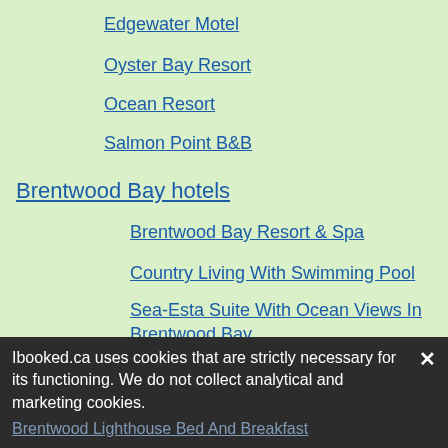Edgewater Motel
Oyster Bay Resort
Ocean Resort
Salmon Point B&B
Brentwood Bay hotels
Brentwood Bay Resort & Spa
Country Living With Swimming Pool
Sea-Esta Suite With Ocean Views In Brentwood Bay
Winery Retreat With Pool, Hot Tub, Sauna
Guest Suites On Benvenuto
A Peaceful Stay In Brentwood Bay
Brentwood Lighthouse Bed And Breakfast
Ibooked.ca uses cookies that are strictly necessary for its functioning. We do not collect analytical and marketing cookies.